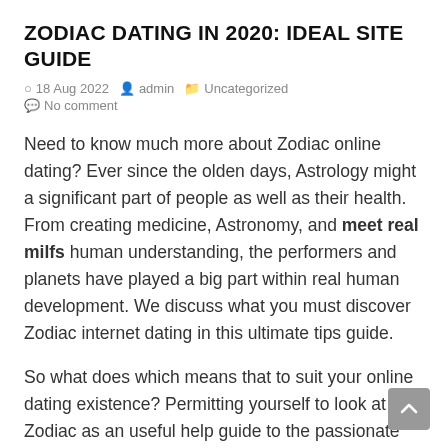ZODIAC DATING IN 2020: IDEAL SITE GUIDE
18 Aug 2022  admin  Uncategorized  No comment
Need to know much more about Zodiac online dating? Ever since the olden days, Astrology might a significant part of people as well as their health. From creating medicine, Astronomy, and meet real milfs human understanding, the performers and planets have played a big part within real human development. We discuss what you must discover Zodiac internet dating in this ultimate tips guide.
So what does which means that to suit your online dating existence? Permitting yourself to look at the Zodiac as an useful help guide to the passionate passions makes it possible to not merely pick the best lover available, additionally provide you with the tools to produce significant, long-lasting interactions inside the Zodiac!